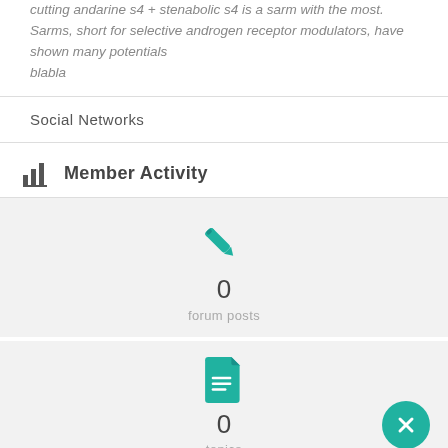cutting andarine s4 + stenabolic s4 is a sarm with the most. Sarms, short for selective androgen receptor modulators, have shown many potentials
blabla
Social Networks
Member Activity
[Figure (infographic): Teal pencil/edit icon above the number 0 and label 'forum posts' on a light grey background]
[Figure (infographic): Teal document/page icon above the number 0 and label 'topics' on a light grey background, with a teal circular close/X button in bottom right]